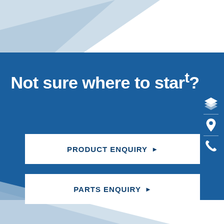[Figure (illustration): Decorative diagonal light-blue geometric shapes on white background, top and bottom of page]
Not sure where to start?
[Figure (infographic): Three white icons on right side: stacked layers icon, map pin icon, phone icon, separated by dividers]
PRODUCT ENQUIRY ▶
PARTS ENQUIRY ▶